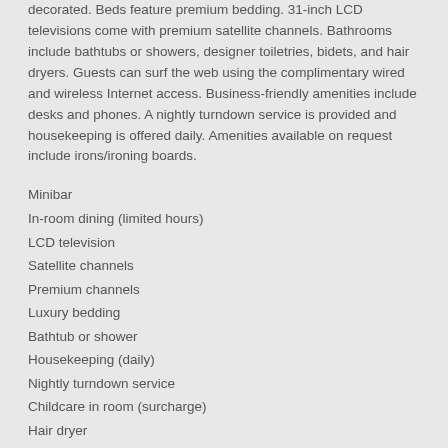decorated. Beds feature premium bedding. 31-inch LCD televisions come with premium satellite channels. Bathrooms include bathtubs or showers, designer toiletries, bidets, and hair dryers. Guests can surf the web using the complimentary wired and wireless Internet access. Business-friendly amenities include desks and phones. A nightly turndown service is provided and housekeeping is offered daily. Amenities available on request include irons/ironing boards.
Minibar
In-room dining (limited hours)
LCD television
Satellite channels
Premium channels
Luxury bedding
Bathtub or shower
Housekeeping (daily)
Nightly turndown service
Childcare in room (surcharge)
Hair dryer
Safe
Designer toiletries